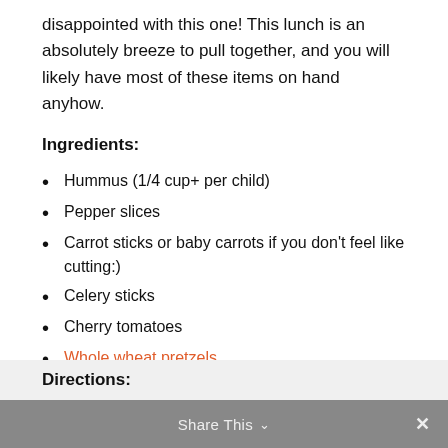disappointed with this one! This lunch is an absolutely breeze to pull together, and you will likely have most of these items on hand anyhow.
Ingredients:
Hummus (1/4 cup+ per child)
Pepper slices
Carrot sticks or baby carrots if you don't feel like cutting:)
Celery sticks
Cherry tomatoes
Whole wheat pretzels
Crackers (I like the Simple Mills brand)
Directions:
Share This  ×